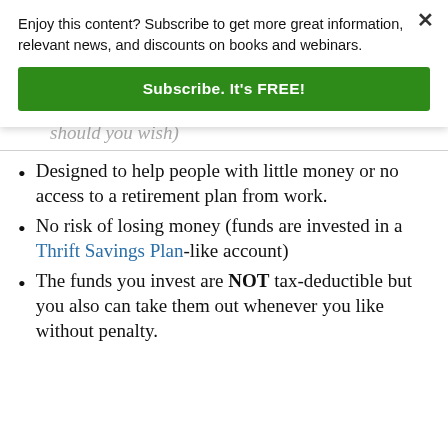Enjoy this content? Subscribe to get more great information, relevant news, and discounts on books and webinars.
Subscribe. It's FREE!
should you wish)
Designed to help people with little money or no access to a retirement plan from work.
No risk of losing money (funds are invested in a Thrift Savings Plan-like account)
The funds you invest are NOT tax-deductible but you also can take them out whenever you like without penalty.